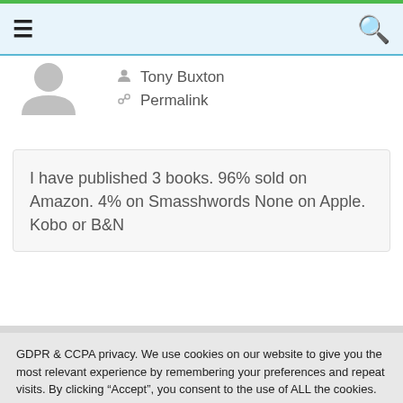Navigation bar with menu and search icons
[Figure (illustration): Gray silhouette avatar / profile icon]
Tony Buxton
Permalink
I have published 3 books. 96% sold on Amazon. 4% on Smasshwords None on Apple. Kobo or B&N
GDPR & CCPA privacy. We use cookies on our website to give you the most relevant experience by remembering your preferences and repeat visits. By clicking "Accept", you consent to the use of ALL the cookies. Cookie Policy
.
Cookie settings
ACCEPT